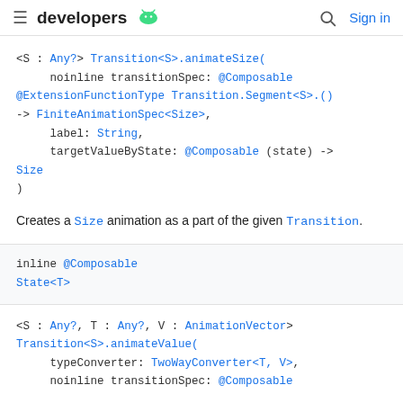developers [android icon] ... Sign in
<S : Any?> Transition<S>.animateSize(
    noinline transitionSpec: @Composable @ExtensionFunctionType Transition.Segment<S>.()
-> FiniteAnimationSpec<Size>,
    label: String,
    targetValueByState: @Composable (state) ->
Size
)
Creates a Size animation as a part of the given Transition.
inline @Composable
State<T>
<S : Any?, T : Any?, V : AnimationVector>
Transition<S>.animateValue(
    typeConverter: TwoWayConverter<T, V>,
    noinline transitionSpec: @Composable